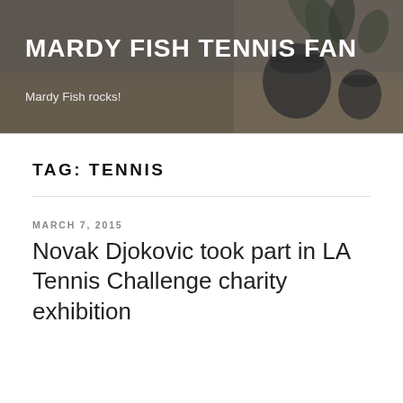[Figure (photo): Header banner photo showing dark decorative plant pots on a wooden surface with a gray/dark overlay and the blog site title and tagline overlaid in white text.]
MARDY FISH TENNIS FAN
Mardy Fish rocks!
TAG: TENNIS
MARCH 7, 2015
Novak Djokovic took part in LA Tennis Challenge charity exhibition